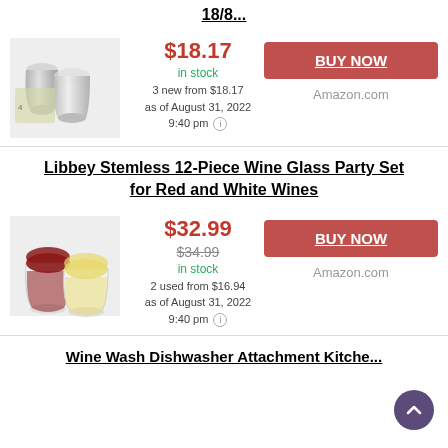18/8...
[Figure (photo): Stainless steel stemless wine glasses set of 4 in a box]
$18.17
in stock
3 new from $18.17
as of August 31, 2022
9:40 pm
BUY NOW
Amazon.com
Libbey Stemless 12-Piece Wine Glass Party Set for Red and White Wines
[Figure (photo): Two stemless wine glasses with red and white wine]
$32.99
$34.99
in stock
2 used from $16.94
as of August 31, 2022
9:40 pm
BUY NOW
Amazon.com
Wine Wash Dishwasher Attachment Kitchen...